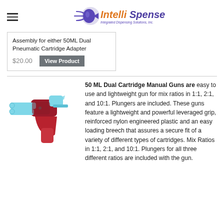IntelliSpense - Integrated Dispensing Solutions, Inc.
Assembly for either 50ML Dual Pneumatic Cartridge Adapter
$20.00   View Product
50 ML Dual Cartridge Manual Guns
[Figure (photo): A red and light blue dual cartridge manual dispensing gun.]
50 ML Dual Cartridge Manual Guns are easy to use and lightweight gun for mix ratios in 1:1, 2:1, and 10:1. Plungers are included. These guns feature a lightweight and powerful leveraged grip, reinforced nylon engineered plastic and an easy loading breech that assures a secure fit of a variety of different types of cartridges. Mix Ratios in 1:1, 2:1, and 10:1. Plungers for all three different ratios are included with the gun.